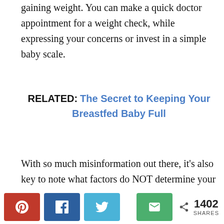gaining weight. You can make a quick doctor appointment for a weight check, while expressing your concerns or invest in a simple baby scale.
RELATED: The Secret to Keeping Your Breastfed Baby Full
With so much misinformation out there, it's also key to note what factors do NOT determine your milk supply:
[Figure (infographic): Social sharing bar with Pinterest (red), Facebook (dark blue), Twitter (light blue), Email (green) buttons, a share icon, count of 1402, and label SHARES]